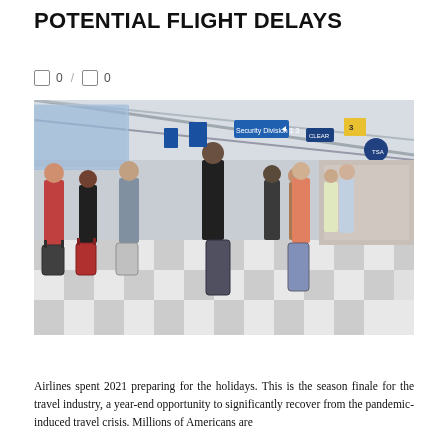POTENTIAL FLIGHT DELAYS
0 / 0
[Figure (photo): Crowded airport terminal with travelers wearing masks and pulling luggage on a checkered floor, with blue signage overhead including a 'Security Divison 1 3' sign and a yellow sign in the background.]
Airlines spent 2021 preparing for the holidays. This is the season finale for the travel industry, a year-end opportunity to significantly recover from the pandemic-induced travel crisis. Millions of Americans are